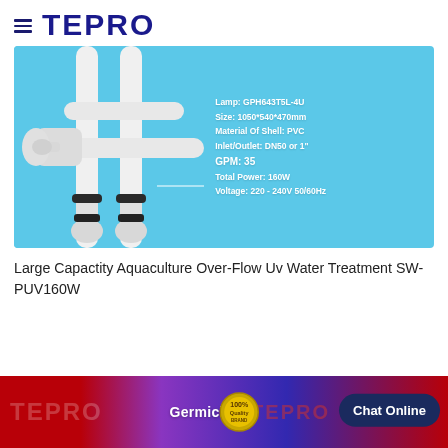TEPRO
[Figure (photo): White PVC UV water treatment sterilizer unit with pipes, connectors and black fittings against light blue background. Specs overlay text: Lamp: GPH643T5L-4U, Size: 1050*540*470mm, Material Of Shell: PVC, Inlet/Outlet: DN50 or 1", GPM: 35, Total Power: 160W, Voltage: 220 - 240V 50/60Hz]
Large Capactity Aquaculture Over-Flow Uv Water Treatment SW-PUV160W
[Figure (photo): Bottom banner: TEPRO branding with Germicidal Lamp text, quality 100% badge, and Chat Online button on dark navy pill button]